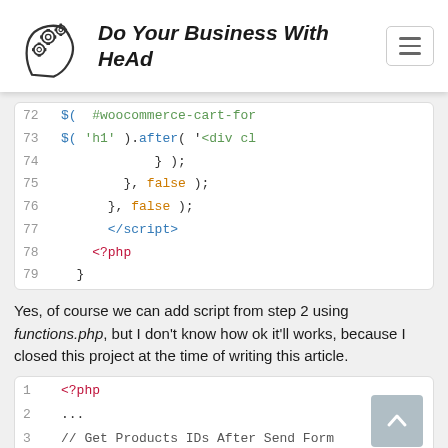Do Your Business With HeAd
[Figure (screenshot): Code block showing lines 72-79 of PHP/JavaScript code with syntax highlighting]
Yes, of course we can add script from step 2 using functions.php, but I don't know how ok it'll works, because I closed this project at the time of writing this article.
[Figure (screenshot): Code block showing lines 1-3 of PHP code starting with <?php, ..., // Get Products IDs After Send Form]